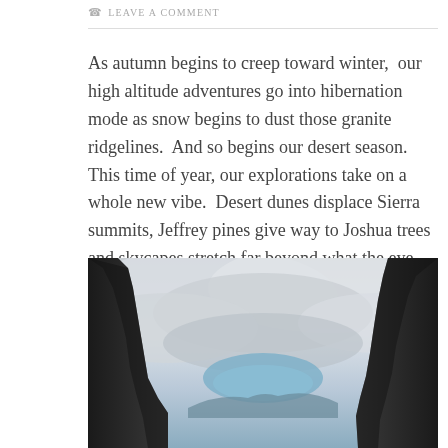LEAVE A COMMENT
As autumn begins to creep toward winter,  our high altitude adventures go into hibernation mode as snow begins to dust those granite ridgelines.  And so begins our desert season.  This time of year, our explorations take on a whole new vibe.  Desert dunes displace Sierra summits, Jeffrey pines give way to Joshua trees and skycapes stretch far beyond what the eye can see.
[Figure (photo): Wide-angle landscape photograph showing a dramatic cloudy sky viewed between two dark rocky canyon walls, with a glimpse of blue sky and distant mountains near the horizon.]